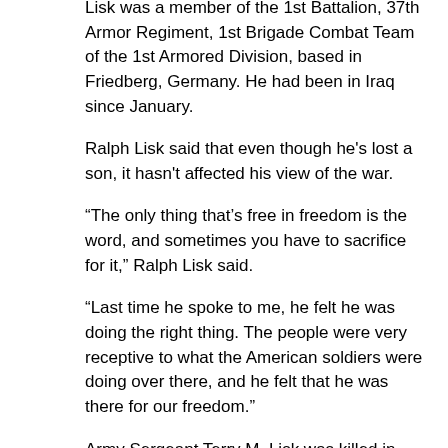Lisk was a member of the 1st Battalion, 37th Armor Regiment, 1st Brigade Combat Team of the 1st Armored Division, based in Friedberg, Germany. He had been in Iraq since January.
Ralph Lisk said that even though he's lost a son, it hasn't affected his view of the war.
“The only thing that’s free in freedom is the word, and sometimes you have to sacrifice for it,” Ralph Lisk said.
“Last time he spoke to me, he felt he was doing the right thing. The people were very receptive to what the American soldiers were doing over there, and he felt that he was there for our freedom.”
Army Sergeant Terry M. Lisk was killed in action on 06/26/06.
Terry’s portrait is also located on Poster 3